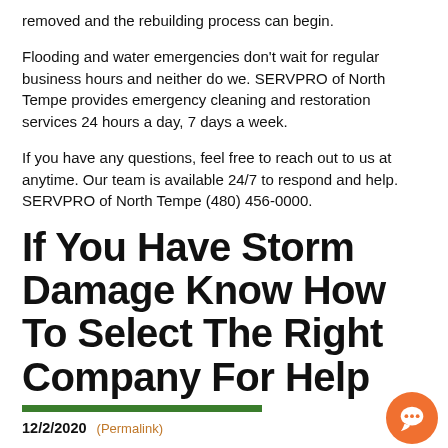removed and the rebuilding process can begin.
Flooding and water emergencies don’t wait for regular business hours and neither do we. SERVPRO of North Tempe provides emergency cleaning and restoration services 24 hours a day, 7 days a week.
If you have any questions, feel free to reach out to us at anytime. Our team is available 24/7 to respond and help. SERVPRO of North Tempe (480) 456-0000.
If You Have Storm Damage Know How To Select The Right Company For Help
12/2/2020  (Permalink)
There are a few things to keep in mind when choosing a